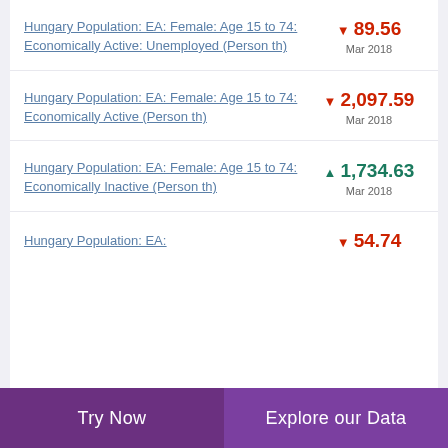Hungary Population: EA: Female: Age 15 to 74: Economically Active: Unemployed (Person th)
Hungary Population: EA: Female: Age 15 to 74: Economically Active (Person th)
Hungary Population: EA: Female: Age 15 to 74: Economically Inactive (Person th)
Hungary Population: EA:
Try Now | Explore our Data